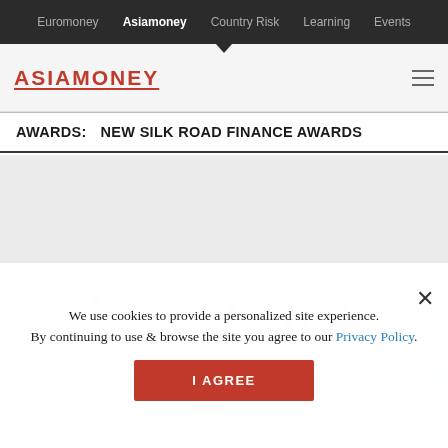Euromoney  Asiamoney  Country Risk  Learning  Events
[Figure (logo): Asiamoney logo in red with underline, hamburger menu icon on right]
AWARDS:   NEW SILK ROAD FINANCE AWARDS
We use cookies to provide a personalized site experience.
By continuing to use & browse the site you agree to our Privacy Policy.
I AGREE